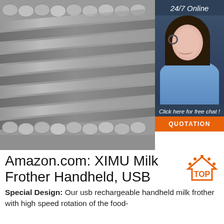[Figure (photo): Stack of metallic steel rods/bars viewed from the end, showing circular cross-sections, gray metallic color]
[Figure (photo): 24/7 Online customer service agent - woman with headset smiling, with dark blue background panel, 'Click here for free chat!' text and orange QUOTATION button]
Amazon.com: XIMU Milk Frother Handheld, USB
[Figure (logo): TOP badge icon - orange triangle/house shape with dots around it and 'TOP' text in orange]
Special Design: Our usb rechargeable handheld milk frother with high speed rotation of the food-